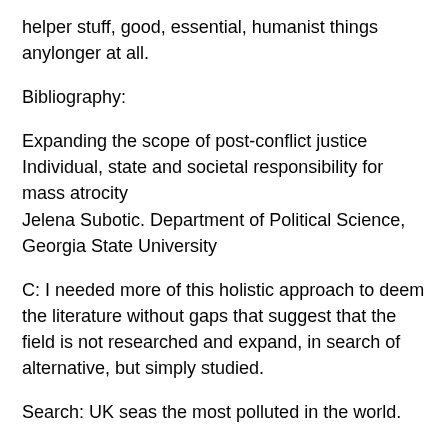helper stuff, good, essential, humanist things anylonger at all.
Bibliography:
Expanding the scope of post-conflict justice
Individual, state and societal responsibility for mass atrocity
Jelena Subotic. Department of Political Science, Georgia State University
C: I needed more of this holistic approach to deem the literature without gaps that suggest that the field is not researched and expand, in search of alternative, but simply studied.
Search: UK seas the most polluted in the world.